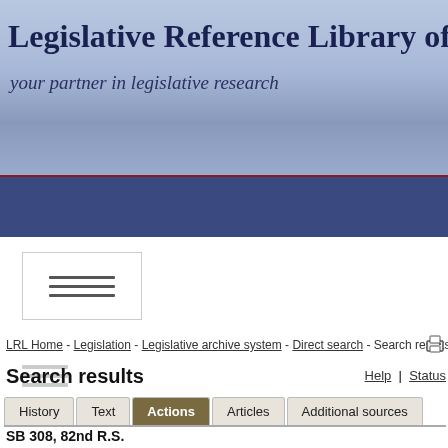Legislative Reference Library of Texas
your partner in legislative research
LRL Home - Legislation - Legislative archive system - Direct search - Search results
Search results
Help | Status
History | Text | Actions | Articles | Additional sources
SB 308, 82nd R.S.
Relating to the composition of the congressional districts for the State of Texas. Visit the Texas Legislature Online web site to see the actions for SB 308, 82nd R.S. with links to the online House and Senate Journals.
| Chamber | Action | Comments | Date |
| --- | --- | --- | --- |